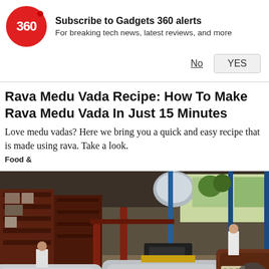[Figure (logo): Gadgets 360 red circular logo with '360' text and notification bell dot]
Subscribe to Gadgets 360 alerts
For breaking tech news, latest reviews, and more
No   YES
Rava Medu Vada Recipe: How To Make Rava Medu Vada In Just 15 Minutes
Love medu vadas? Here we bring you a quick and easy recipe that is made using rava. Take a look.
Food &
[Figure (photo): Interior of a manufacturing facility showing multiple hot tubs/spas on a production floor with shelving units, workers in white protective suits, and industrial equipment]